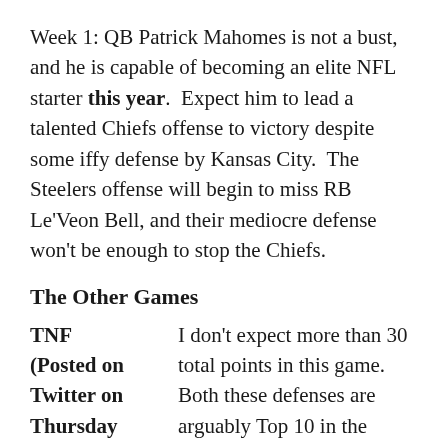Week 1: QB Patrick Mahomes is not a bust, and he is capable of becoming an elite NFL starter this year.  Expect him to lead a talented Chiefs offense to victory despite some iffy defense by Kansas City.  The Steelers offense will begin to miss RB Le'Veon Bell, and their mediocre defense won't be enough to stop the Chiefs.
The Other Games
TNF (Posted on Twitter on Thursday Night; Actual
I don't expect more than 30 total points in this game.  Both these defenses are arguably Top 10 in the league.  They should be successful in pressuring each other's quarterbacks and